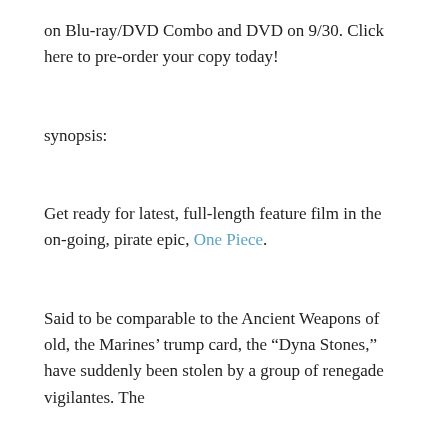on Blu-ray/DVD Combo and DVD on 9/30. Click here to pre-order your copy today!
synopsis:
Get ready for latest, full-length feature film in the on-going, pirate epic, One Piece.
Said to be comparable to the Ancient Weapons of old, the Marines’ trump card, the “Dyna Stones,” have suddenly been stolen by a group of renegade vigilantes. The